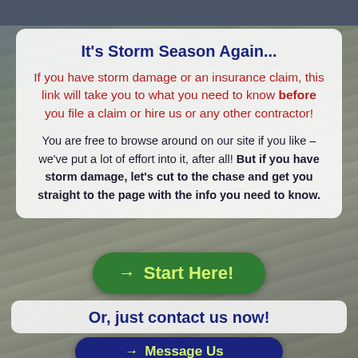It's Storm Season Again...
If you have storm damage or an insurance claim, this link will take you to what you need to know before you file a claim or hire us or any other contractor!
You are free to browse around on our site if you like – we've put a lot of effort into it, after all! But if you have storm damage, let's cut to the chase and get you straight to the page with the info you need to know.
[Figure (other): Green call-to-action button with arrow reading 'Start Here!']
Or, just contact us now!
[Figure (other): Dark navy blue button with arrow reading 'Message Us']